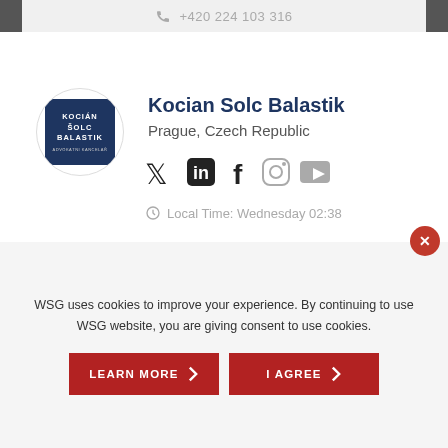+420 224 103 316
[Figure (logo): Kocian Solc Balastik law firm logo — dark blue square with white text KOCIAN ŠOLC BALASTIK and small subtitle ADVOKÁTNÍ KANCELÁŘ, inside a circular border]
Kocian Solc Balastik
Prague, Czech Republic
[Figure (infographic): Social media icons: Twitter, LinkedIn, Facebook, Instagram, YouTube]
Local Time: Wednesday 02:38
WSG uses cookies to improve your experience. By continuing to use WSG website, you are giving consent to use cookies.
LEARN MORE
I AGREE